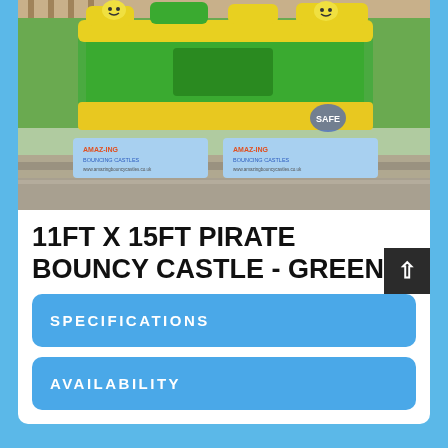[Figure (photo): A green and yellow inflatable bouncy castle (pirate themed) photographed outdoors on grass. Blue safety mats with 'Amazing Bouncy Castles' branding are visible in front. The castle has green and yellow inflatable walls and a yellow top.]
11FT X 15FT PIRATE BOUNCY CASTLE - GREEN
SPECIFICATIONS
AVAILABILITY